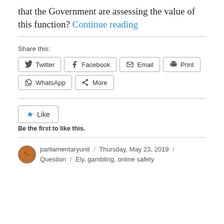that the Government are assessing the value of this function? Continue reading
Share this:
Twitter  Facebook  Email  Print  WhatsApp  More
Like
Be the first to like this.
parliamentaryunit / Thursday, May 23, 2019 / Question / Ely, gambling, online safety